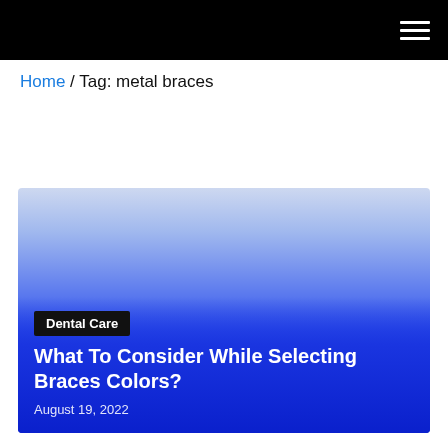≡
Home / Tag: metal braces
[Figure (illustration): Article card with blue gradient background, showing a Dental Care tag label, article title 'What To Consider While Selecting Braces Colors?' and date 'August 19, 2022']
Dental Care
What To Consider While Selecting Braces Colors?
August 19, 2022